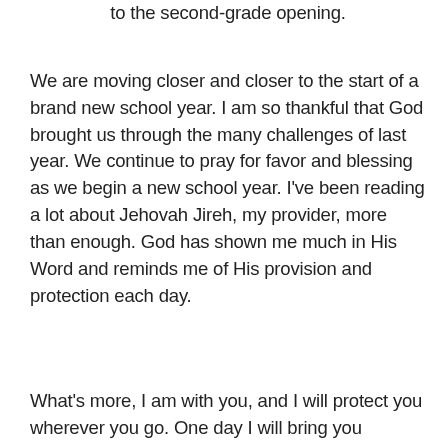to the second-grade opening.
We are moving closer and closer to the start of a brand new school year. I am so thankful that God brought us through the many challenges of last year. We continue to pray for favor and blessing as we begin a new school year. I've been reading a lot about Jehovah Jireh, my provider, more than enough. God has shown me much in His Word and reminds me of His provision and protection each day.
What's more, I am with you, and I will protect you wherever you go. One day I will bring you